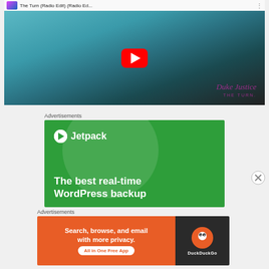[Figure (screenshot): YouTube video thumbnail showing 'The Turn (Radio Edit) (Radio Ed...' by Duke Justice - The Turn, with a red YouTube play button over an album art background with teal and dark tones]
Advertisements
[Figure (screenshot): Jetpack advertisement banner on green background showing logo and text 'The best real-time WordPress backup']
Advertisements
[Figure (screenshot): DuckDuckGo advertisement on orange and dark background: 'Search, browse, and email with more privacy. All in One Free App']